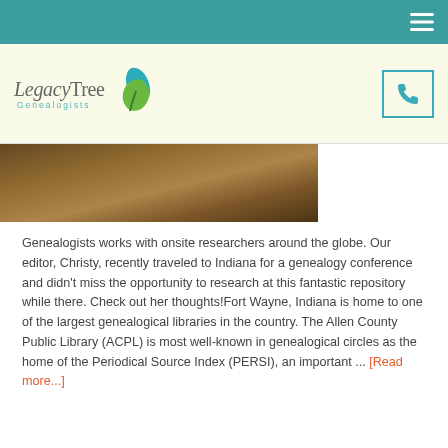LegacyTree Genealogists
[Figure (photo): Partial photo showing wooden/brown tones, likely library or archival setting]
Genealogists works with onsite researchers around the globe. Our editor, Christy, recently traveled to Indiana for a genealogy conference and didn't miss the opportunity to research at this fantastic repository while there. Check out her thoughts!Fort Wayne, Indiana is home to one of the largest genealogical libraries in the country. The Allen County Public Library (ACPL) is most well-known in genealogical circles as the home of the Periodical Source Index (PERSI), an important ... [Read more...]